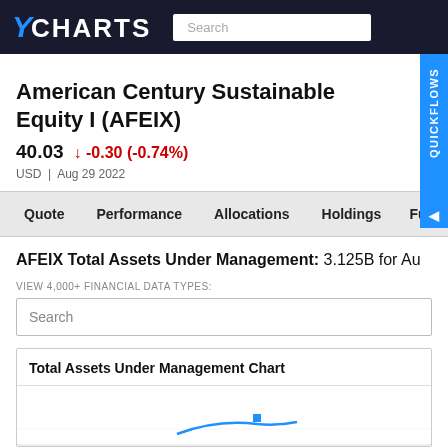YCHARTS
American Century Sustainable Equity I (AFEIX)
40.03  ↓ -0.30 (-0.74%)
USD  |  Aug 29 2022
Quote  Performance  Allocations  Holdings  Fu
AFEIX Total Assets Under Management: 3.125B for Au
VIEW 4,000+ FINANCIAL DATA TYPES:
Search
Total Assets Under Management Chart